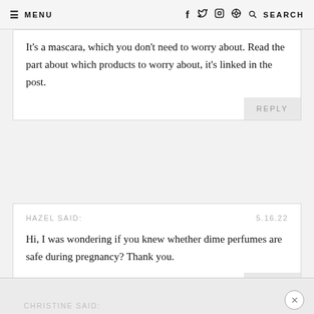MENU | f t [instagram] [pinterest] [search] SEARCH
It's a mascara, which you don't need to worry about. Read the part about which products to worry about, it's linked in the post.
REPLY
HAZEL SAID:	5.16.22
Hi, I was wondering if you knew whether dime perfumes are safe during pregnancy? Thank you.
REPLY
CHRISTINE SAID: